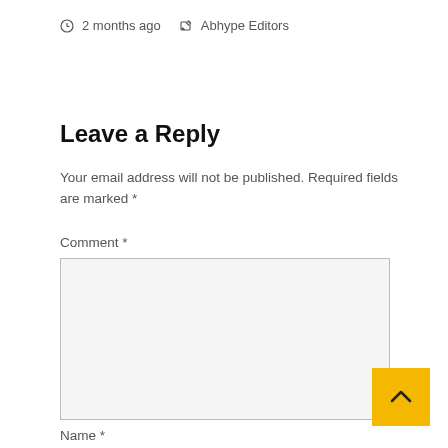2 months ago  Abhype Editors
Leave a Reply
Your email address will not be published. Required fields are marked *
Comment *
Name *